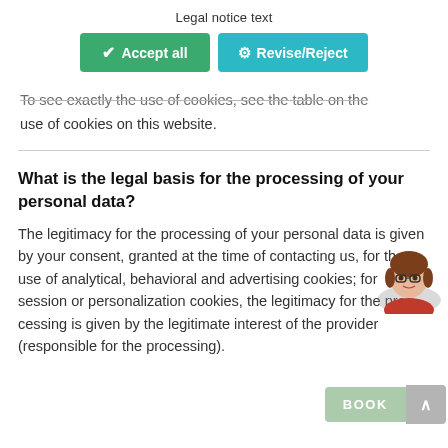Legal notice text
[Figure (screenshot): Two buttons: green 'Accept all' and teal 'Revise/Reject']
To see exactly the use of cookies, see the table on the use of cookies on this website.
What is the legal basis for the processing of your personal data?
The legitimacy for the processing of your personal data is given by your consent, granted at the time of contacting us, for the use of analytical, behavioral and advertising cookies; for session or personalization cookies, the legitimacy for the processing is given by the legitimate interest of the provider (responsible for the processing).